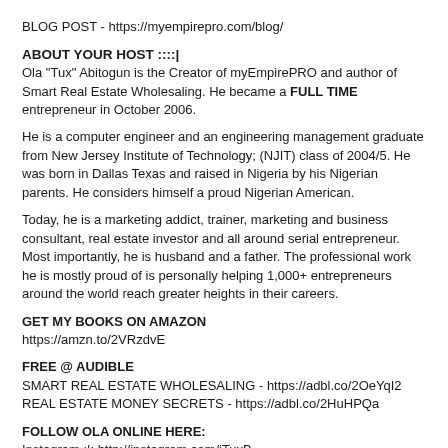BLOG POST - https://myempirepro.com/blog/
ABOUT YOUR HOST ::::|
Ola "Tux" Abitogun is the Creator of myEmpirePRO and author of Smart Real Estate Wholesaling. He became a FULL TIME entrepreneur in October 2006.
He is a computer engineer and an engineering management graduate from New Jersey Institute of Technology; (NJIT) class of 2004/5. He was born in Dallas Texas and raised in Nigeria by his Nigerian parents. He considers himself a proud Nigerian American.
Today, he is a marketing addict, trainer, marketing and business consultant, real estate investor and all around serial entrepreneur. Most importantly, he is husband and a father. The professional work he is mostly proud of is personally helping 1,000+ entrepreneurs around the world reach greater heights in their careers.
GET MY BOOKS ON AMAZON
https://amzn.to/2VRzdvE
FREE @ AUDIBLE
SMART REAL ESTATE WHOLESALING - https://adbl.co/2OeYqI2
REAL ESTATE MONEY SECRETS - https://adbl.co/2HuHPQa
FOLLOW OLA ONLINE HERE:
Instagram :|: http://instagram.com/iTuxB